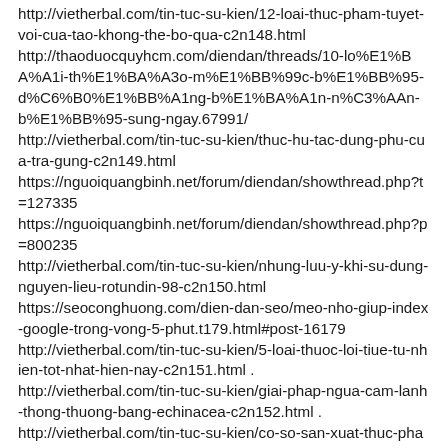http://vietherbal.com/tin-tuc-su-kien/12-loai-thuc-pham-tuyet-voi-cua-tao-khong-the-bo-qua-c2n148.html
http://thaoduocquyhcm.com/diendan/threads/10-lo%E1%BA%A1i-th%E1%BA%A3o-m%E1%BB%99c-b%E1%BB%95-d%C6%B0%E1%BB%A1ng-b%E1%BA%A1n-n%C3%AAn-b%E1%BB%95-sung-ngay.67991/
http://vietherbal.com/tin-tuc-su-kien/thuc-hu-tac-dung-phu-cua-tra-gung-c2n149.html
https://nguoiquangbinh.net/forum/diendan/showthread.php?t=127335
https://nguoiquangbinh.net/forum/diendan/showthread.php?p=800235
http://vietherbal.com/tin-tuc-su-kien/nhung-luu-y-khi-su-dung-nguyen-lieu-rotundin-98-c2n150.html
https://seoconghuong.com/dien-dan-seo/meo-nho-giup-index-google-trong-vong-5-phut.t179.html#post-16179
http://vietherbal.com/tin-tuc-su-kien/5-loai-thuoc-loi-tiue-tu-nhien-tot-nhat-hien-nay-c2n151.html .
http://vietherbal.com/tin-tuc-su-kien/giai-phap-ngua-cam-lanh-thong-thuong-bang-echinacea-c2n152.html .
http://vietherbal.com/tin-tuc-su-kien/co-so-san-xuat-thuc-pham-chuc-nang-can-dam-bao-yeu-cau-gi-c2n153.html .